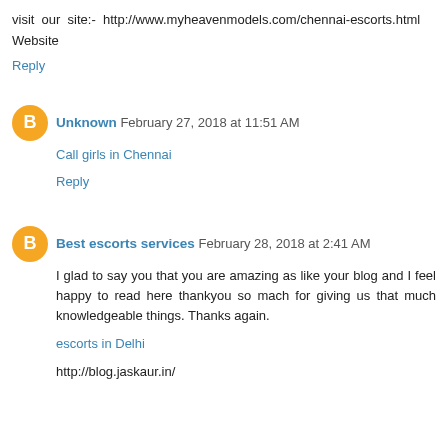visit our site:- http://www.myheavenmodels.com/chennai-escorts.html
Website
Reply
Unknown  February 27, 2018 at 11:51 AM
Call girls in Chennai
Reply
Best escorts services  February 28, 2018 at 2:41 AM
I glad to say you that you are amazing as like your blog and I feel happy to read here thankyou so mach for giving us that much knowledgeable things. Thanks again.
escorts in Delhi
http://blog.jaskaur.in/